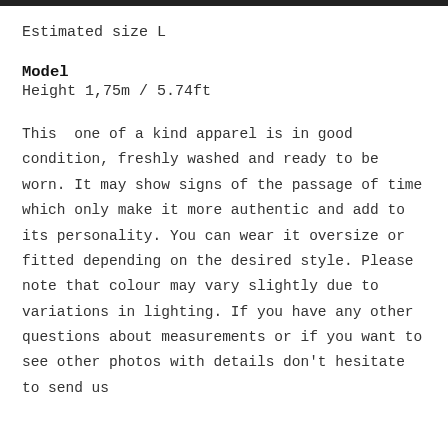Estimated size L
Model
Height 1,75m / 5.74ft
This  one of a kind apparel is in good condition, freshly washed and ready to be worn. It may show signs of the passage of time which only make it more authentic and add to its personality. You can wear it oversize or fitted depending on the desired style. Please note that colour may vary slightly due to variations in lighting. If you have any other questions about measurements or if you want to see other photos with details don't hesitate to send us